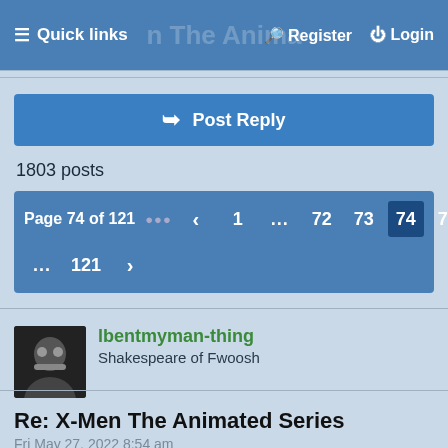≡ Quick links   Register   Login
Post Reply
1803 posts
Page 74 of 121 ••• ‹ 1 ... 72 73 74 75 76 ... 121 ›
lbentmyman-thing
Shakespeare of Fwoosh
Re: X-Men The Animated Series
Fri May 27, 2022 8:54 am